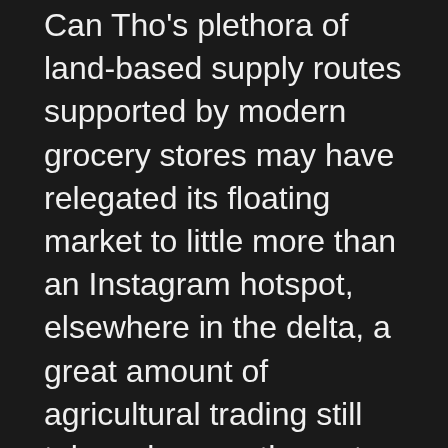Can Tho's plethora of land-based supply routes supported by modern grocery stores may have relegated its floating market to little more than an Instagram hotspot, elsewhere in the delta, a great amount of agricultural trading still takes place on the water.
During a trip to explore poverty relief efforts in Long My, Saigoneer took a side trip to the Ngã Năm floating market and discovered a vibrant trading center where farmers bring tubers, ducklings, mangos, jackfruits, pork